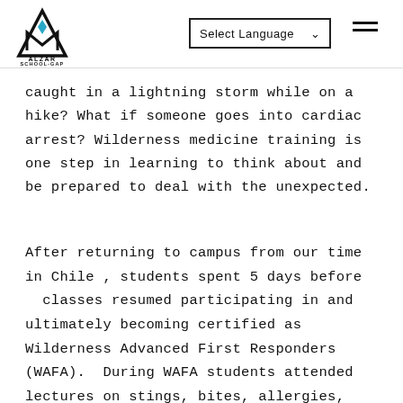ALZAR SCHOOL-GAP | Select Language | Menu
caught in a lightning storm while on a hike? What if someone goes into cardiac arrest? Wilderness medicine training is one step in learning to think about and be prepared to deal with the unexpected.
After returning to campus from our time in Chile , students spent 5 days before  classes resumed participating in and ultimately becoming certified as Wilderness Advanced First Responders (WAFA).  During WAFA students attended lectures on stings, bites, allergies, trauma injuries, and many